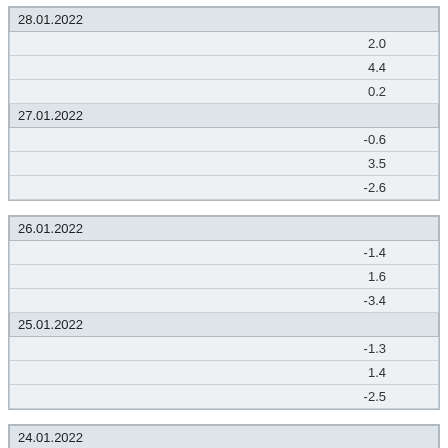| 28.01.2022 |
| 2.0 |
| 4.4 |
| 0.2 |
| 27.01.2022 |
| -0.6 |
| 3.5 |
| -2.6 |
| 26.01.2022 |
| -1.4 |
| 1.6 |
| -3.4 |
| 25.01.2022 |
| -1.3 |
| 1.4 |
| -2.5 |
| 24.01.2022 |
| -0.9 |